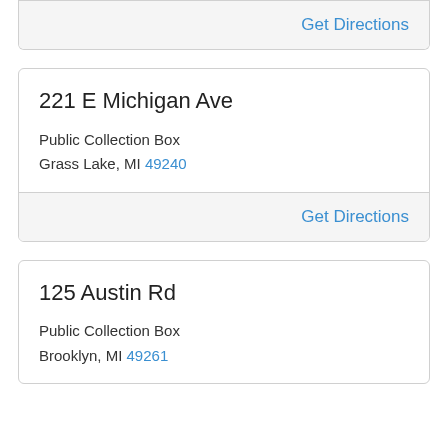Get Directions
221 E Michigan Ave
Public Collection Box
Grass Lake, MI 49240
Get Directions
125 Austin Rd
Public Collection Box
Brooklyn, MI 49261